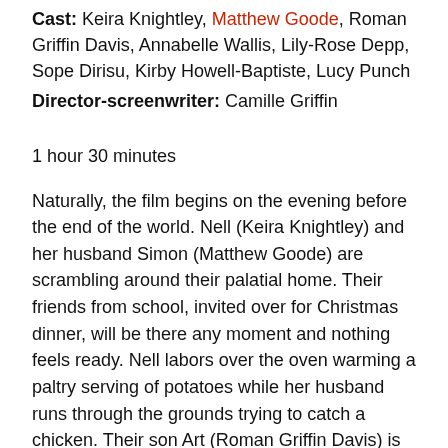Cast: Keira Knightley, Matthew Goode, Roman Griffin Davis, Annabelle Wallis, Lily-Rose Depp, Sope Dirisu, Kirby Howell-Baptiste, Lucy Punch
Director-screenwriter: Camille Griffin
1 hour 30 minutes
Naturally, the film begins on the evening before the end of the world. Nell (Keira Knightley) and her husband Simon (Matthew Goode) are scrambling around their palatial home. Their friends from school, invited over for Christmas dinner, will be there any moment and nothing feels ready. Nell labors over the oven warming a paltry serving of potatoes while her husband runs through the grounds trying to catch a chicken. Their son Art (Roman Griffin Davis) is busy chopping carrots until he slices through his skin and